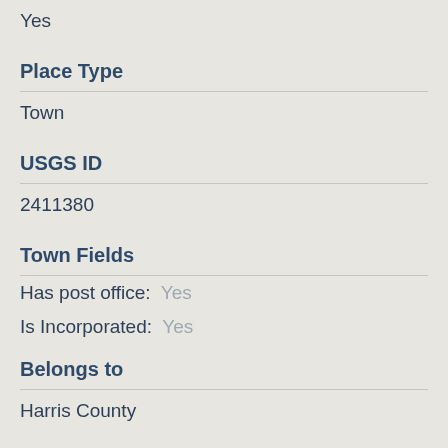Yes
Place Type
Town
USGS ID
2411380
Town Fields
Has post office:  Yes
Is Incorporated:  Yes
Belongs to
Harris County
Coordinates
Latitude:  29.65751700°